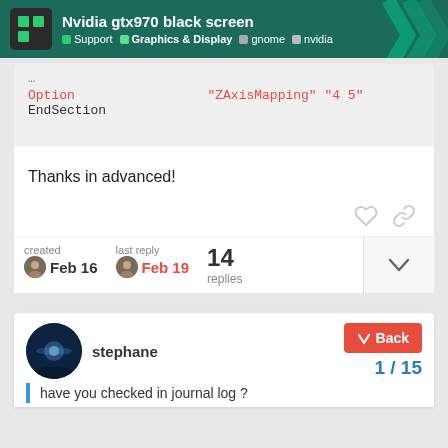Nvidia gtx970 black screen | Support | Graphics & Display | gnome | nvidia
Option  "ZAxisMapping" "4 5"
EndSection
Thanks in advanced!
created Feb 16  last reply Feb 19  14 replies
stephane
1 / 15
have you checked in journal log ?